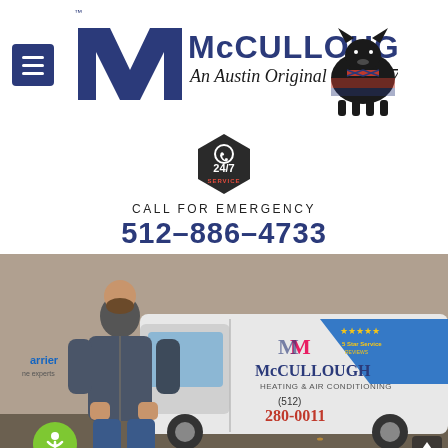[Figure (logo): McCullough Heating & Air Conditioning logo with Scottish Terrier mascot and tagline 'An Austin Original since 1977']
[Figure (infographic): 24/7 Service hexagon badge in dark color with phone icon]
CALL FOR EMERGENCY
512-886-4733
[Figure (photo): McCullough technician standing in front of branded service van showing McCullough Heating & Air Conditioning logo and phone number (512) 280-0011, with 5 Star Service badge and Carrier branding]